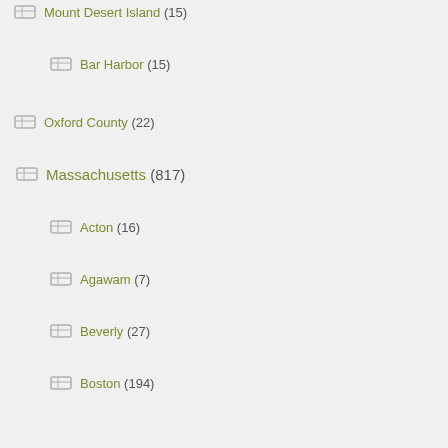Mount Desert Island (15)
Bar Harbor (15)
Oxford County (22)
Massachusetts (817)
Acton (16)
Agawam (7)
Beverly (27)
Boston (194)
Back Bay (25)
Beacon Hill (51)
Dorchester (4)
Downtown/Theater District (37)
Fenway/Kenmore (5)
Jamaica Plain (37)
North End (15)